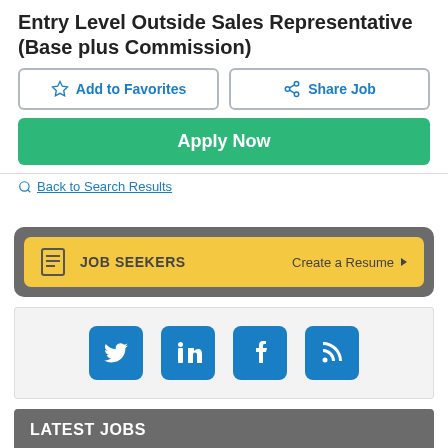Entry Level Outside Sales Representative (Base plus Commission)
Add to Favorites
Share Job
Apply Now
Back to Search Results
JOB SEEKERS   Create a Resume
[Figure (screenshot): Social media icons: Twitter, LinkedIn, Facebook, RSS feed]
LATEST JOBS
Manager, Strategic Planning